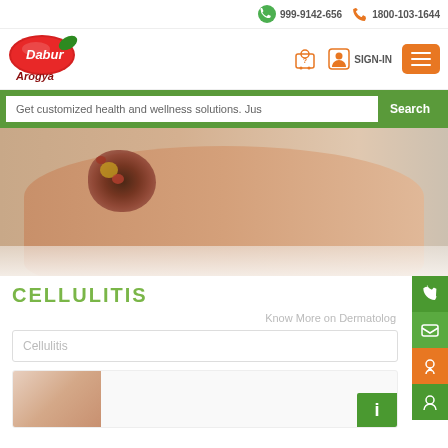999-9142-656   1800-103-1644
[Figure (logo): Dabur Arogya logo - red oval with Dabur text and Arogya script below]
SIGN-IN
Get customized health and wellness solutions. Jus   Search
[Figure (photo): Close-up photo of a human foot/ankle with a skin wound/infection (cellulitis) showing redness, crusting, and inflammation]
CELLULITIS
Know More on Dermatolog
Cellulitis
[Figure (photo): Small thumbnail image of a skin condition]